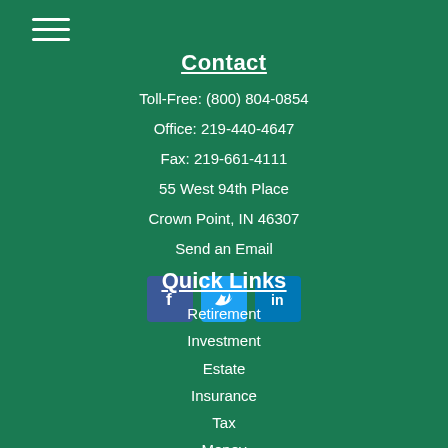[Figure (other): Hamburger menu icon with three horizontal white lines]
Contact
Toll-Free: (800) 804-0854
Office: 219-440-4647
Fax: 219-661-4111
55 West 94th Place
Crown Point, IN 46307
Send an Email
[Figure (other): Social media icons: Facebook (f), Twitter (bird), LinkedIn (in)]
Quick Links
Retirement
Investment
Estate
Insurance
Tax
Money
Lifestyle
All Articles